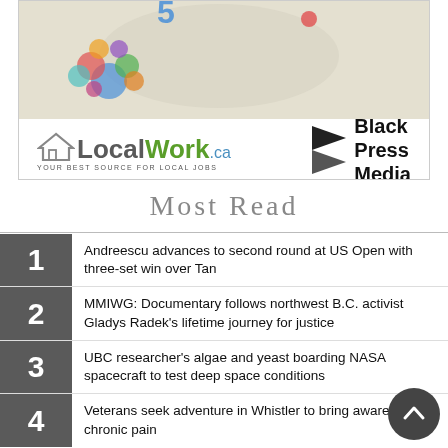[Figure (infographic): Advertisement banner showing LocalWork.ca and Black Press Media logos, with a decorative map/infographic image above]
Most Read
1. Andreescu advances to second round at US Open with three-set win over Tan
2. MMIWG: Documentary follows northwest B.C. activist Gladys Radek's lifetime journey for justice
3. UBC researcher's algae and yeast boarding NASA spacecraft to test deep space conditions
4. Veterans seek adventure in Whistler to bring awareness to chronic pain